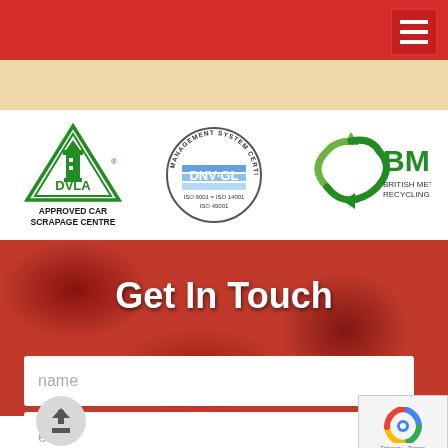[Figure (logo): Red header navigation bar with hamburger menu icon (three white horizontal lines) on right side]
[Figure (logo): DVLA Approved Car Scrapage Centre logo - green triangle with lighthouse/tower, text below says APPROVED CAR SCRAPAGE CENTRE]
[Figure (logo): DNV GL Management System Certification logo - circular badge with text MANAGEMENT SYSTEM CERTIFICATION, DNV·GL, ISO 9001 = ISO 14001, ISO 45001]
[Figure (logo): BMRA British Metals Recycling Association logo - green recycling arrows around BMRA text]
Get In Touch
name
email